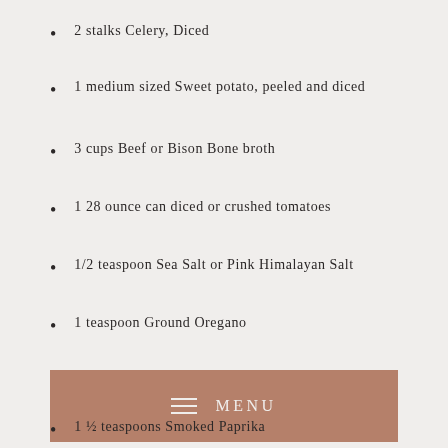2 stalks Celery, Diced
1 medium sized Sweet potato, peeled and diced
3 cups Beef or Bison Bone broth
1 28 ounce can diced or crushed tomatoes
1/2 teaspoon Sea Salt or Pink Himalayan Salt
1 teaspoon Ground Oregano
1 Tablespoon Ground Cumin
[Figure (other): Brown menu bar with hamburger icon and MENU text in light color]
1 ½ teaspoons Smoked Paprika